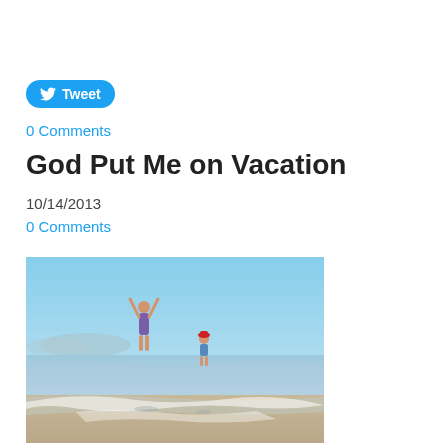Tweet
0 Comments
God Put Me on Vacation
10/14/2013
0 Comments
[Figure (photo): Two children playing on a beach at the water's edge. One child has arms raised in the air, wearing a purple swimsuit. Another small child in a red hat stands further in the water. Clear blue sky and calm sea in background.]